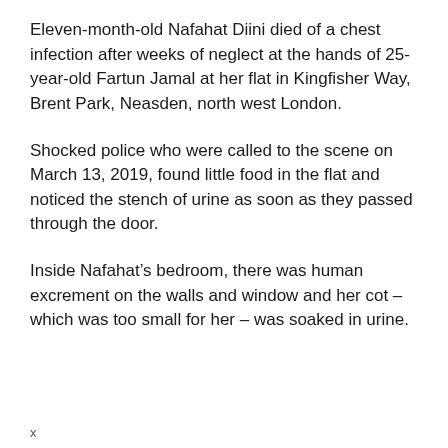Eleven-month-old Nafahat Diini died of a chest infection after weeks of neglect at the hands of 25-year-old Fartun Jamal at her flat in Kingfisher Way, Brent Park, Neasden, north west London.
Shocked police who were called to the scene on March 13, 2019, found little food in the flat and noticed the stench of urine as soon as they passed through the door.
Inside Nafahat’s bedroom, there was human excrement on the walls and window and her cot – which was too small for her – was soaked in urine.